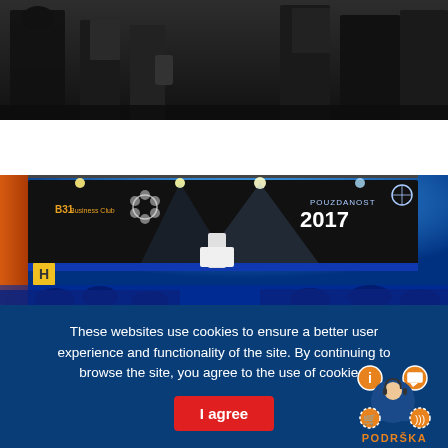[Figure (photo): Dark silhouetted figures standing, partial view from waist down, dark indoor background]
[Figure (photo): Event ceremony photo: speaker at white podium on stage with large dark backdrop showing 'POUZDANOST 2017' branding, blue stage lighting, audience seated at tables in foreground, B31 Business Club branding visible]
These websites use cookies to ensure a better user experience and functionality of the site. By continuing to browse the site, you agree to the use of cookies.
I agree
PODRŠKA